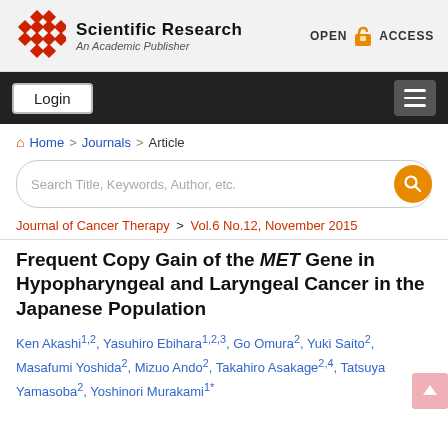Scientific Research — An Academic Publisher | OPEN ACCESS
Login
Home > Journals > Article
Search Title, Keywords, Author, etc.
Journal of Cancer Therapy > Vol.6 No.12, November 2015
Frequent Copy Gain of the MET Gene in Hypopharyngeal and Laryngeal Cancer in the Japanese Population
Ken Akashi1,2, Yasuhiro Ebihara1,2,3, Go Omura2, Yuki Saito2, Masafumi Yoshida2, Mizuo Ando2, Takahiro Asakage2,4, Tatsuya Yamasoba2, Yoshinori Murakami1*